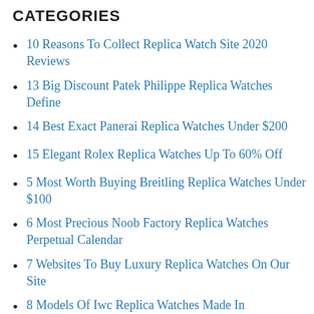CATEGORIES
10 Reasons To Collect Replica Watch Site 2020 Reviews
13 Big Discount Patek Philippe Replica Watches Define
14 Best Exact Panerai Replica Watches Under $200
15 Elegant Rolex Replica Watches Up To 60% Off
5 Most Worth Buying Breitling Replica Watches Under $100
6 Most Precious Noob Factory Replica Watches Perpetual Calendar
7 Websites To Buy Luxury Replica Watches On Our Site
8 Models Of Iwc Replica Watches Made In